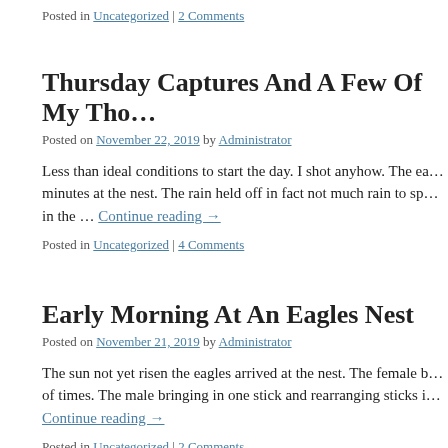Posted in Uncategorized | 2 Comments
Thursday Captures And A Few Of My Tho…
Posted on November 22, 2019 by Administrator
Less than ideal conditions to start the day. I shot anyhow. The ea… minutes at the nest. The rain held off in fact not much rain to sp… in the … Continue reading →
Posted in Uncategorized | 4 Comments
Early Morning At An Eagles Nest
Posted on November 21, 2019 by Administrator
The sun not yet risen the eagles arrived at the nest. The female b… of times. The male bringing in one stick and rearranging sticks i… Continue reading →
Posted in Uncategorized | 2 Comments